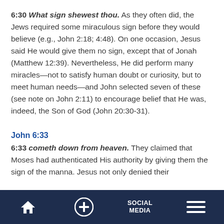6:30 What sign shewest thou. As they often did, the Jews required some miraculous sign before they would believe (e.g., John 2:18; 4:48). On one occasion, Jesus said He would give them no sign, except that of Jonah (Matthew 12:39). Nevertheless, He did perform many miracles—not to satisfy human doubt or curiosity, but to meet human needs—and John selected seven of these (see note on John 2:11) to encourage belief that He was, indeed, the Son of God (John 20:30-31).
John 6:33
6:33 cometh down from heaven. They claimed that Moses had authenticated His authority by giving them the sign of the manna. Jesus not only denied their
Home | + | SOCIAL MEDIA | Menu